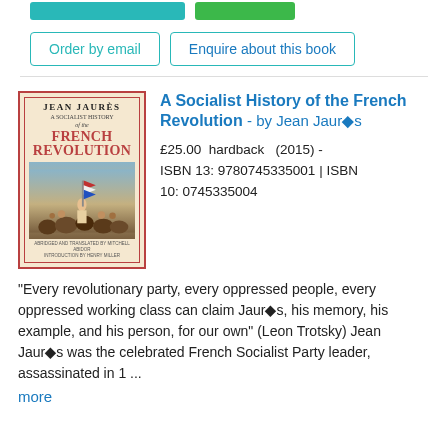[Figure (other): Two teal/green button bars at the top of the page]
Order by email
Enquire about this book
[Figure (illustration): Book cover: Jean Jaurès A Socialist History of the French Revolution, with illustration of revolutionary scene]
A Socialist History of the French Revolution - by Jean Jaurès
£25.00  hardback  (2015) - ISBN 13: 9780745335001 | ISBN 10: 0745335004
"Every revolutionary party, every oppressed people, every oppressed working class can claim Jaurès, his memory, his example, and his person, for our own" (Leon Trotsky) Jean Jaurès was the celebrated French Socialist Party leader, assassinated in 1 ...
more